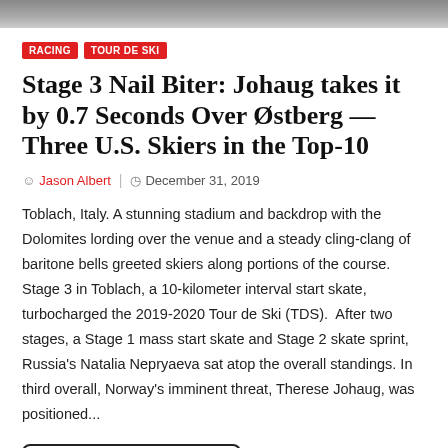[Figure (photo): Dark gray banner image at the top of the page]
RACING
TOUR DE SKI
Stage 3 Nail Biter: Johaug takes it by 0.7 Seconds Over Østberg — Three U.S. Skiers in the Top-10
Jason Albert  |  December 31, 2019
Toblach, Italy. A stunning stadium and backdrop with the Dolomites lording over the venue and a steady cling-clang of baritone bells greeted skiers along portions of the course. Stage 3 in Toblach, a 10-kilometer interval start skate, turbocharged the 2019-2020 Tour de Ski (TDS).  After two stages, a Stage 1 mass start skate and Stage 2 skate sprint, Russia's Natalia Nepryaeva sat atop the overall standings. In third overall, Norway's imminent threat, Therese Johaug, was positioned...
CONTINUE READING →